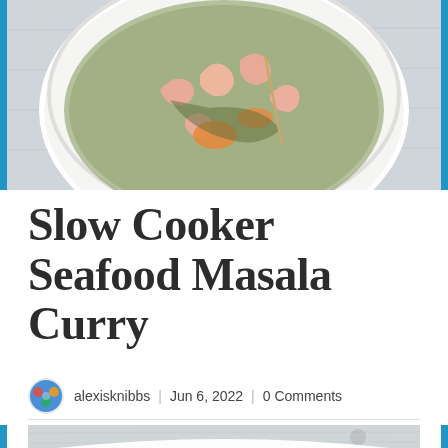[Figure (photo): Top-down view of a white bowl containing seafood masala curry with shrimp and vegetables on a light surface, framed by blue side bars]
Slow Cooker Seafood Masala Curry
alexisknibbs | Jun 6, 2022 | 0 Comments
[Figure (photo): Partial top-down view of a white bowl on a light wooden surface, bottom portion of the page]